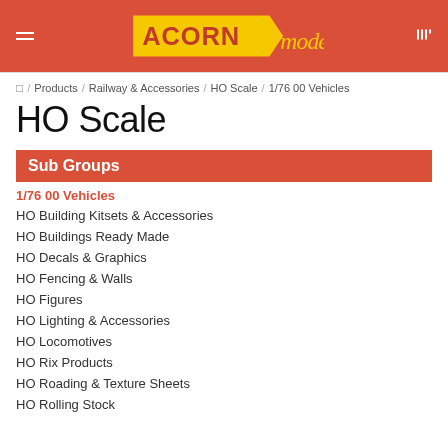Acorn Models - HO Scale
☰ / Products / Railway & Accessories / HO Scale / 1/76 00 Vehicles
HO Scale
Sub Groups
1/76 00 Vehicles
HO Building Kitsets & Accessories
HO Buildings Ready Made
HO Decals & Graphics
HO Fencing & Walls
HO Figures
HO Lighting & Accessories
HO Locomotives
HO Rix Products
HO Roading & Texture Sheets
HO Rolling Stock